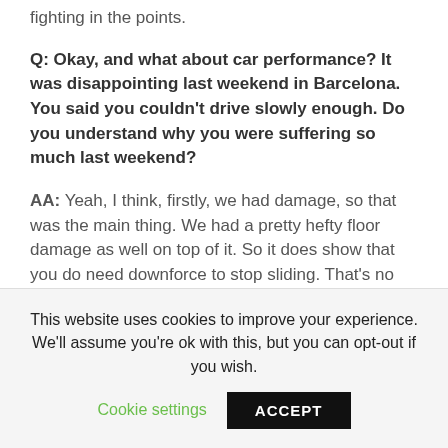fighting in the points.
Q: Okay, and what about car performance? It was disappointing last weekend in Barcelona. You said you couldn't drive slowly enough. Do you understand why you were suffering so much last weekend?
AA: Yeah, I think, firstly, we had damage, so that was the main thing. We had a pretty hefty floor damage as well on top of it. So it does show that you do need downforce to stop sliding. That's no secret., and in general, the top teams are also sliding a bit less than the bottom teams, so you get this expansion of pace in
This website uses cookies to improve your experience. We'll assume you're ok with this, but you can opt-out if you wish. Cookie settings ACCEPT